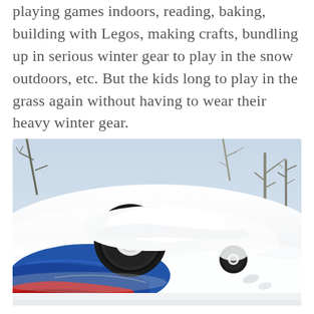playing games indoors, reading, baking, building with Legos, making crafts, bundling up in serious winter gear to play in the snow outdoors, etc. But the kids long to play in the grass again without having to wear their heavy winter gear.
[Figure (photo): A child's toy ride-on car or tricycle tipped over and buried in deep snow outdoors, with only the black wheel, red hub, and blue body visible above the snow. Bare winter trees are visible in the background.]